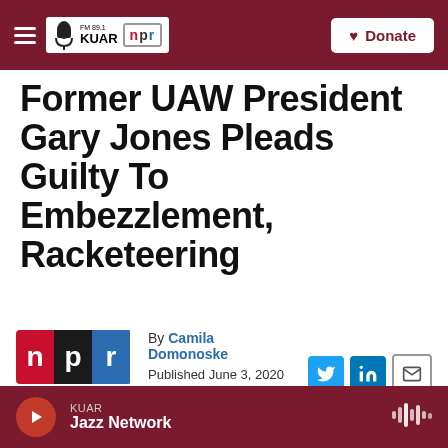KUAR FM 89.1 / NPR — Donate
Former UAW President Gary Jones Pleads Guilty To Embezzlement, Racketeering
By Camila Domonoske
Published June 3, 2020 at 4:26 PM CDT
KUAR Jazz Network